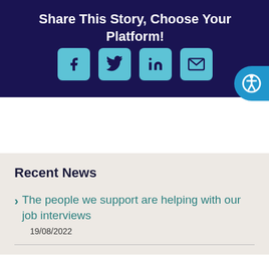Share This Story, Choose Your Platform!
[Figure (infographic): Social share buttons for Facebook, Twitter, LinkedIn, and Email, displayed as light blue rounded squares on a dark navy background. An accessibility icon button appears on the right side.]
Recent News
The people we support are helping with our job interviews
19/08/2022